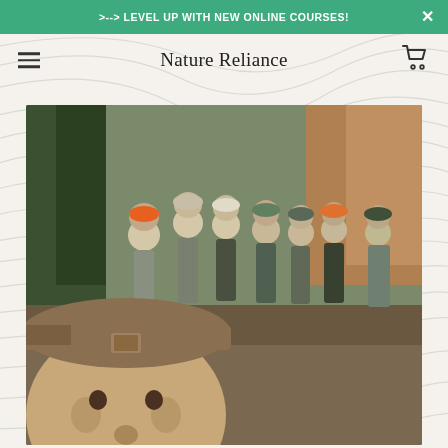>--> LEVEL UP WITH NEW ONLINE COURSES!
Nature Reliance
[Figure (photo): Group photo of approximately 15 people in outdoor/hunting gear standing together in a wooded area. The foreground shows a man in a camo hat smiling at the camera taking a selfie. Trees with autumn foliage visible in background. People wearing various hats and outdoor apparel including camouflage and earth tones.]